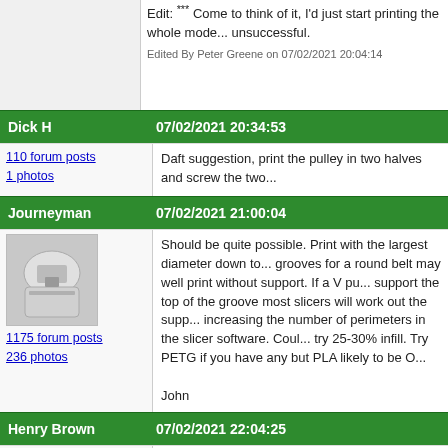Edit: Come to think of it, I'd just start printing the whole model... unsuccessful.
Edited By Peter Greene on 07/02/2021 20:04:14
Dick H
07/02/2021 20:34:53
110 forum posts
1 photos
Daft suggestion, print the pulley in two halves and screw the two...
Journeyman
07/02/2021 21:00:04
[Figure (photo): Avatar image of Journeyman user showing a 3D printer or machine]
1175 forum posts
236 photos
Should be quite possible. Print with the largest diameter down to... grooves for a round belt may well print without support. If a V pu... support the top of the groove most slicers will work out the supp... increasing the number of perimeters in the slicer software. Coul... try 25-30% infill. Try PETG if you have any but PLA likely to be O...

John
Henry Brown
07/02/2021 22:04:25
[Figure (photo): Avatar image of Henry Brown user - person standing in front of large circular structure]
559 forum posts
119 photos
Not quite a pully but I've printed an idler wheel for my printer mo... pair of flanged ball bearings. I actually made it slightly larger on... skimmed them back to size. It worked fine, I printed it with PLA a... diameters run at a fairly low speed as there is a risk of melting th... picture!